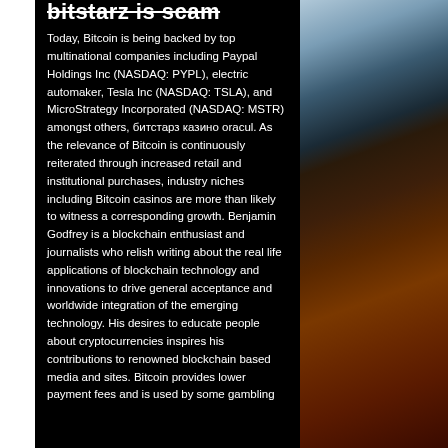bitstarz is scam
Today, Bitcoin is being backed by top multinational companies including Paypal Holdings Inc (NASDAQ: PYPL), electric automaker, Tesla Inc (NASDAQ: TSLA), and MicroStrategy Incorporated (NASDAQ: MSTR) amongst others, битстарз казино oracul. As the relevance of Bitcoin is continuously reiterated through increased retail and institutional purchases, industry niches including Bitcoin casinos are more than likely to witness a corresponding growth. Benjamin Godfrey is a blockchain enthusiast and journalists who relish writing about the real life applications of blockchain technology and innovations to drive general acceptance and worldwide integration of the emerging technology. His desires to educate people about cryptocurrencies inspires his contributions to renowned blockchain based media and sites. Bitcoin provides lower payment fees and is used by some gambling
[Figure (photo): A person visible on the right side of the page, partially cropped, appearing against a background with sky at top and dark tones below.]